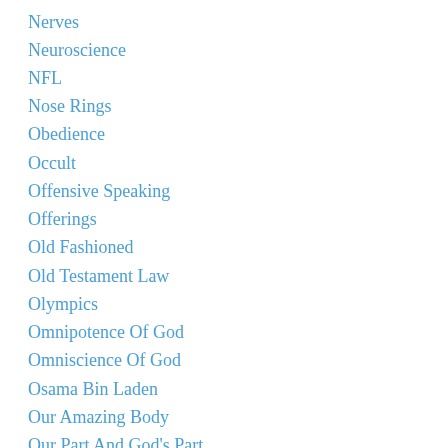Nerves
Neuroscience
NFL
Nose Rings
Obedience
Occult
Offensive Speaking
Offerings
Old Fashioned
Old Testament Law
Olympics
Omnipotence Of God
Omniscience Of God
Osama Bin Laden
Our Amazing Body
Our Part And God's Part
Out Of Season
Overcoming Discouragement
Overwhelmed
Pain